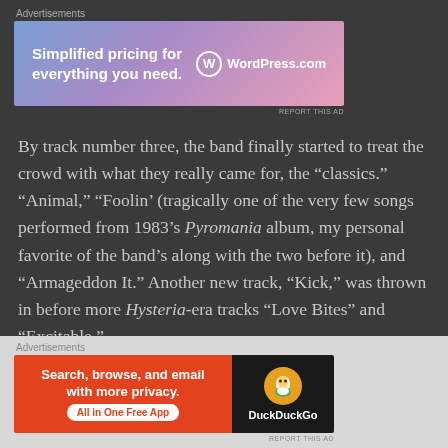Advertisements
[Figure (other): WordPress.com advertisement banner: 'Simplified pricing for everything you need.' with WordPress logo]
By track number three, the band finally started to treat the crowd with what they really came for, the “classics.” “Animal,” “Foolin’ (tragically one of the very few songs performed from 1983’s Pyromania album, my personal favorite of the band’s along with the two before it), and “Armageddon It.” Another new track, “Kick,” was thrown in before more Hysteria-era tracks “Love Bites” and “Excitable.”
Advertisements
[Figure (other): DuckDuckGo advertisement banner: 'Search, browse, and email with more privacy. All in One Free App' with DuckDuckGo logo]